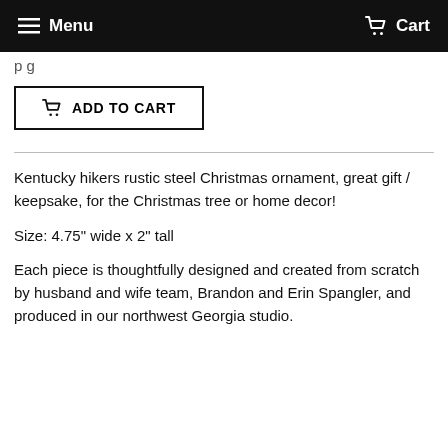Menu  Cart
p g
ADD TO CART
Kentucky hikers rustic steel Christmas ornament, great gift / keepsake, for the Christmas tree or home decor!
Size: 4.75" wide x 2" tall
Each piece is thoughtfully designed and created from scratch by husband and wife team, Brandon and Erin Spangler, and produced in our northwest Georgia studio.